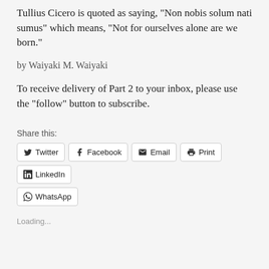Tullius Cicero is quoted as saying, "Non nobis solum nati sumus" which means, "Not for ourselves alone are we born."
by Waiyaki M. Waiyaki
To receive delivery of Part 2 to your inbox, please use the "follow" button to subscribe.
Share this:
Twitter | Facebook | Email | Print | LinkedIn | WhatsApp
Loading...